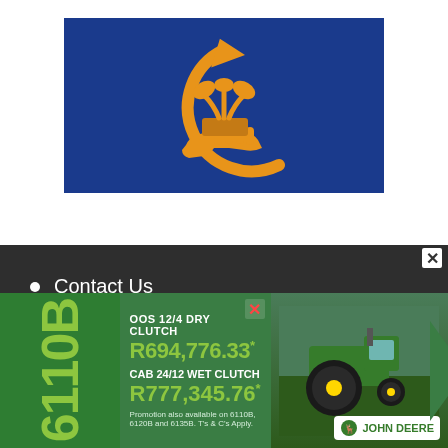[Figure (logo): Dark blue rectangular background with orange icon: a hand holding a plant seedling inside a circular recycling arrow, representing agricultural sustainability or crop management]
Contact Us
Advertise
Classifieds
[Figure (infographic): John Deere 6110B tractor advertisement. OOS 12/4 DRY CLUTCH R694,776.33* and CAB 24/12 WET CLUTCH R777,345.76*. Promotion also available on 6110B, 6120B and 6135B. T's & C's Apply. John Deere logo shown.]